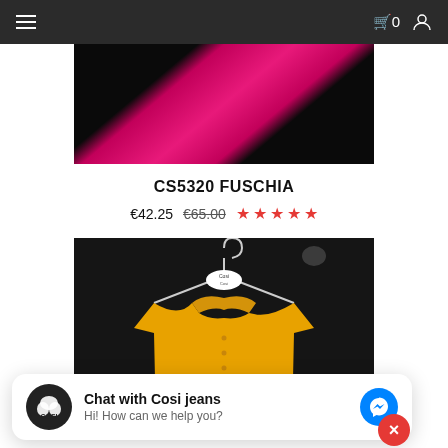Navigation bar with hamburger menu, cart (0), and user icon
[Figure (photo): Fuschia/pink fabric garment on dark background — product CS5320 FUSCHIA]
CS5320 FUSCHIA
€42.25  €65.00 ☆☆☆☆☆
[Figure (photo): Yellow/mustard polo shirt on hanger with Cosi branded hanger tag, dark background]
Chat with Cosi jeans
Hi! How can we help you?